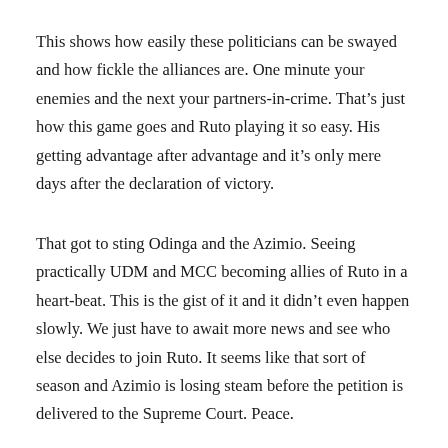This shows how easily these politicians can be swayed and how fickle the alliances are. One minute your enemies and the next your partners-in-crime. That’s just how this game goes and Ruto playing it so easy. His getting advantage after advantage and it’s only mere days after the declaration of victory.
That got to sting Odinga and the Azimio. Seeing practically UDM and MCC becoming allies of Ruto in a heart-beat. This is the gist of it and it didn’t even happen slowly. We just have to await more news and see who else decides to join Ruto. It seems like that sort of season and Azimio is losing steam before the petition is delivered to the Supreme Court. Peace.